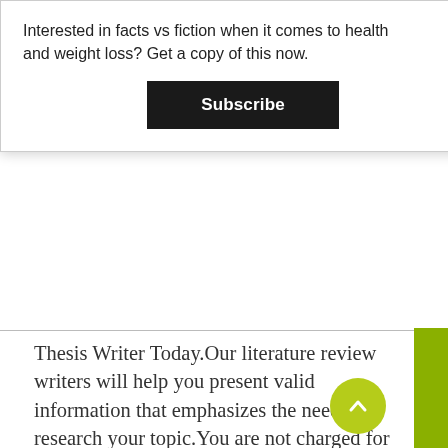Interested in facts vs fiction when it comes to health and weight loss? Get a copy of this now.
Subscribe
Thesis Writer Today.Our literature review writers will help you present valid information that emphasizes the need to research your topic.You are not charged for writing titles or references.MLA, APA, Chicago, Turabian, and so on and so forth – we cover every manual.It involves thorough reading and research to understand the topic of research and previous studies carried out Situation #1: You need help finding literature. You need to present...